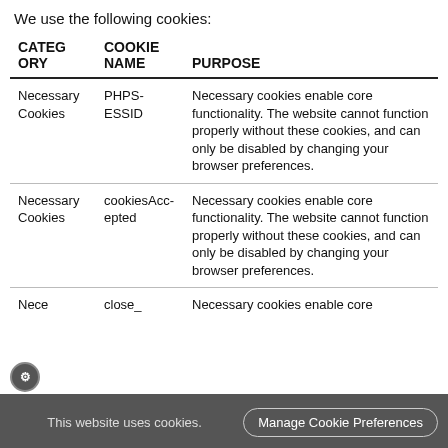We use the following cookies:
| CATEGORY | COOKIE NAME | PURPOSE |
| --- | --- | --- |
| Necessary Cookies | PHPSESSID | Necessary cookies enable core functionality. The website cannot function properly without these cookies, and can only be disabled by changing your browser preferences. |
| Necessary Cookies | cookiesAccepted | Necessary cookies enable core functionality. The website cannot function properly without these cookies, and can only be disabled by changing your browser preferences. |
| Nece... | close_ | Necessary cookies enable core... |
This website uses cookies. Manage Cookie Preferences